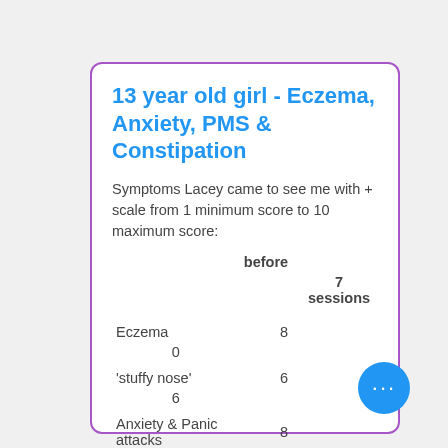13 year old girl - Eczema, Anxiety, PMS & Constipation
Symptoms Lacey came to see me with + scale from 1 minimum score to 10 maximum score:
|  | before | 7 sessions |
| --- | --- | --- |
| Eczema | 8 | 0 |
| 'stuffy nose' | 6 | 6 |
| Anxiety & Panic attacks | 8 | 2 |
| Puffy eyes & discharge | 5 |  |